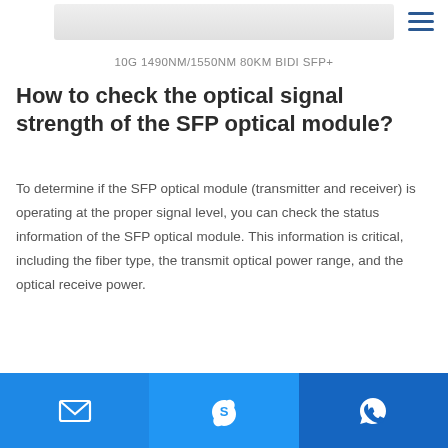[Figure (photo): Partial product image of SFP+ optical module at top of page]
10G 1490NM/1550NM 80KM BIDI SFP+
How to check the optical signal strength of the SFP optical module?
To determine if the SFP optical module (transmitter and receiver) is operating at the proper signal level, you can check the status information of the SFP optical module. This information is critical, including the fiber type, the transmit optical power range, and the optical receive power.
In addition, switches like Cisco and Brocade SAN switches will
[Figure (infographic): Footer contact bar with email, Skype, and phone/WhatsApp icons on blue background]